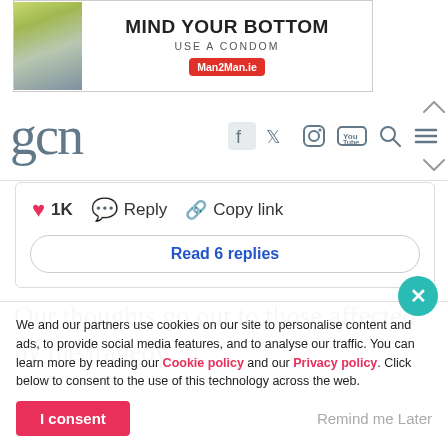[Figure (other): Advertisement banner: 'MIND YOUR BOTTOM USE A CONDOM' with Man2Man.ie logo]
gcn — site header with social media icons (Facebook, Twitter, Instagram, YouTube, Search, Menu)
❤ 1K  💬 Reply  🔗 Copy link
Read 6 replies
Our thoughts go out to those affected by the tragedy.
We and our partners use cookies on our site to personalise content and ads, to provide social media features, and to analyse our traffic. You can learn more by reading our Cookie policy and our Privacy policy. Click below to consent to the use of this technology across the web.
I consent  Remind me Later